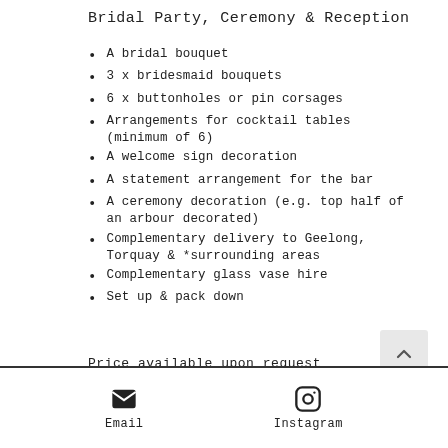Bridal Party, Ceremony & Reception
A bridal bouquet
3 x bridesmaid bouquets
6 x buttonholes or pin corsages
Arrangements for cocktail tables (minimum of 6)
A welcome sign decoration
A statement arrangement for the bar
A ceremony decoration (e.g. top half of an arbour decorated)
Complementary delivery to Geelong, Torquay & *surrounding areas
Complementary glass vase hire
Set up & pack down
Price available upon request
Email  Instagram